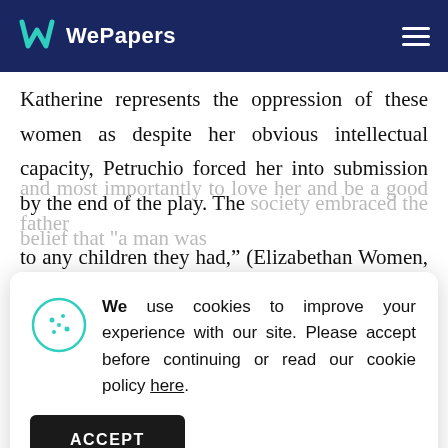WePapers
Katherine represents the oppression of these women as despite her obvious intellectual capacity, Petruchio forced her into submission by the end of the play. The society embraced the belief that "a man was
We use cookies to improve your experience with our site. Please accept before continuing or read our cookie policy here.
ACCEPT
and most importantly to love her and be a good father to any children they had," (Elizabethan Women, par.3). In other words, men were not allowed to inflict harm to a woman's body or display acts of cruelty towards his